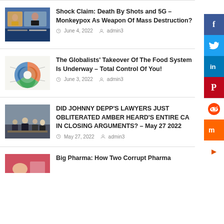[Figure (screenshot): Article thumbnail showing two people on a TV broadcast]
Shock Claim: Death By Shots and 5G – Monkeypox As Weapon Of Mass Destruction?
June 4, 2022   admin3
[Figure (infographic): Circular diagram with radiating colored segments, possibly a food system infographic]
The Globalists' Takeover Of The Food System Is Underway – Total Control Of You!
June 3, 2022   admin3
[Figure (photo): Photo of people in a courtroom setting]
DID JOHNNY DEPP'S LAWYERS JUST OBLITERATED AMBER HEARD'S ENTIRE CA IN CLOSING ARGUMENTS? – May 27 2022
May 27, 2022   admin3
[Figure (photo): Partial article thumbnail at bottom of page]
Big Pharma: How Two Corrupt Pharma